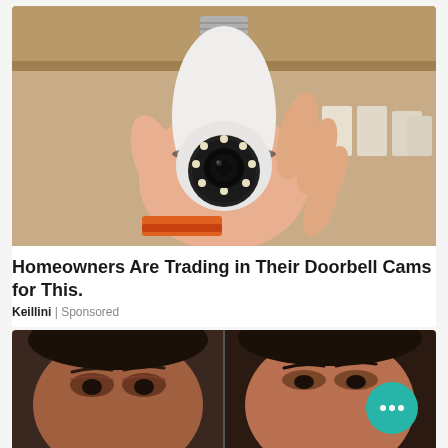[Figure (photo): A hand holding a light-bulb shaped security camera with a circular lens and LED ring, metallic screw base at top. Background shows shelving with boxes.]
Homeowners Are Trading in Their Doorbell Cams for This.
Keillini | Sponsored
[Figure (photo): Before and after comparison of a woman's face showing eye area, side by side split image.]